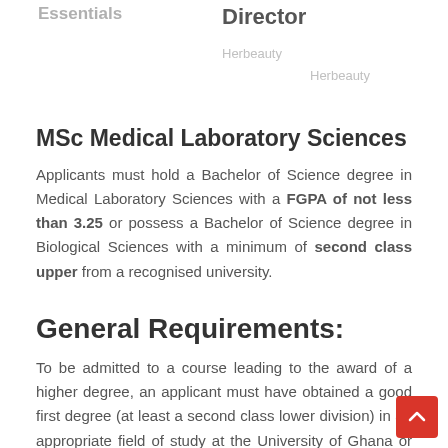Essentials
Director
Herbeauty
Herbeauty
MSc Medical Laboratory Sciences
Applicants must hold a Bachelor of Science degree in Medical Laboratory Sciences with a FGPA of not less than 3.25 or possess a Bachelor of Science degree in Biological Sciences with a minimum of second class upper from a recognised university.
General Requirements:
To be admitted to a course leading to the award of a higher degree, an applicant must have obtained a good first degree (at least a second class lower division) in an appropriate field of study at the University of Ghana or any other reputable University. For further admission requirements to a specific programme, refer to that